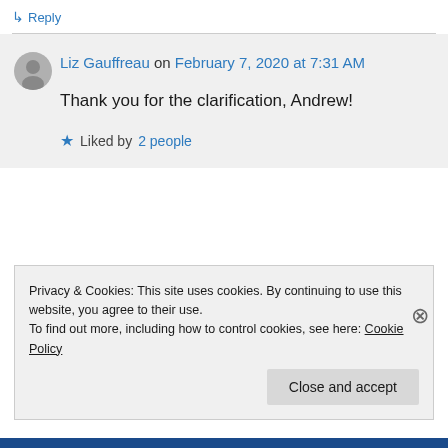↳ Reply
Liz Gauffreau on February 7, 2020 at 7:31 AM
Thank you for the clarification, Andrew!
★ Liked by 2 people
Privacy & Cookies: This site uses cookies. By continuing to use this website, you agree to their use.
To find out more, including how to control cookies, see here: Cookie Policy
Close and accept